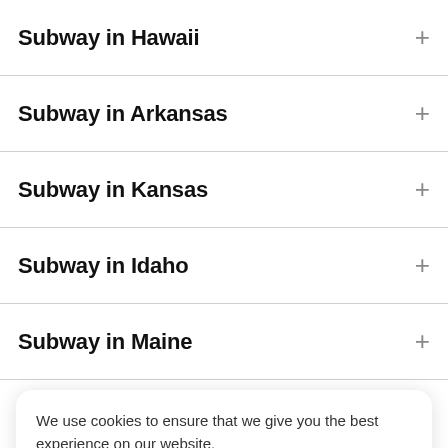Subway in Hawaii
Subway in Arkansas
Subway in Kansas
Subway in Idaho
Subway in Maine
We use cookies to ensure that we give you the best experience on our website.
Accept Cookies
Learn More
Where is Subway Center Line located?